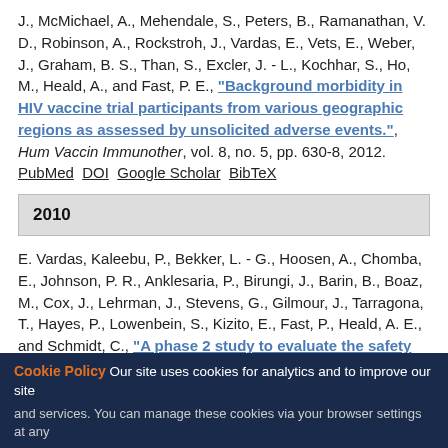J., McMichael, A., Mehendale, S., Peters, B., Ramanathan, V. D., Robinson, A., Rockstroh, J., Vardas, E., Vets, E., Weber, J., Graham, B. S., Than, S., Excler, J. - L., Kochhar, S., Ho, M., Heald, A., and Fast, P. E., "Background morbidity in HIV vaccine trial participants from various geographic regions as assessed by unsolicited adverse events.", Hum Vaccin Immunother, vol. 8, no. 5, pp. 630-8, 2012. PubMed DOI Google Scholar BibTeX
2010
E. Vardas, Kaleebu, P., Bekker, L. - G., Hoosen, A., Chomba, E., Johnson, P. R., Anklesaria, P., Birungi, J., Barin, B., Boaz, M., Cox, J., Lehrman, J., Stevens, G., Gilmour, J., Tarragona, T., Hayes, P., Lowenbein, S., Kizito, E., Fast, P., Heald, A. E., and Schmidt, C., "A phase 2 study to evaluate the safety and immunogenicity of a recombinant HIV type 1 vaccine based on adeno-associated virus.", AIDS Res...
Cookie Policy — Our site uses cookies for analytics and to improve our site and services. You can manage these cookies via your browser settings at any